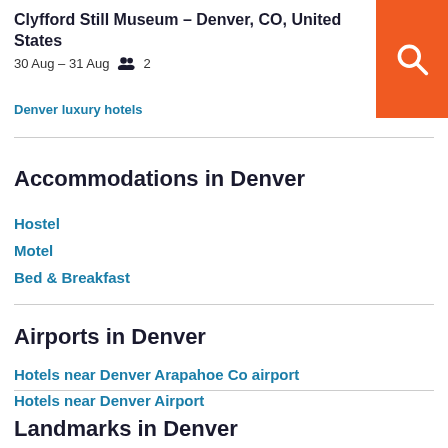Clyfford Still Museum - Denver, CO, United States
30 Aug – 31 Aug  2
Denver luxury hotels
Accommodations in Denver
Hostel
Motel
Bed & Breakfast
Airports in Denver
Hotels near Denver Arapahoe Co airport
Hotels near Denver Airport
Landmarks in Denver